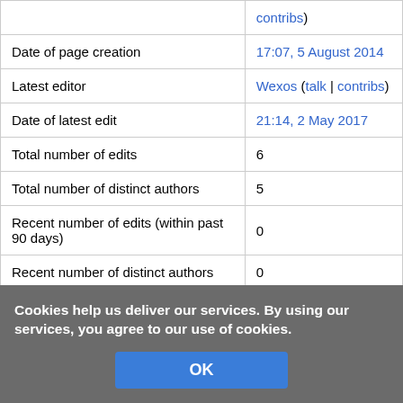|  | contribs) |
| Date of page creation | 17:07, 5 August 2014 |
| Latest editor | Wexos (talk | contribs) |
| Date of latest edit | 21:14, 2 May 2017 |
| Total number of edits | 6 |
| Total number of distinct authors | 5 |
| Recent number of edits (within past 90 days) | 0 |
| Recent number of distinct authors | 0 |
Cookies help us deliver our services. By using our services, you agree to our use of cookies.